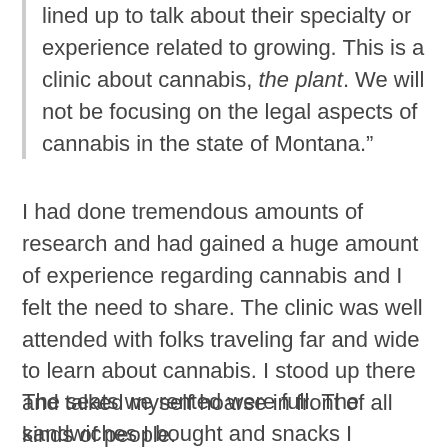lined up to talk about their specialty or experience related to growing. This is a clinic about cannabis, the plant. We will not be focusing on the legal aspects of cannabis in the state of Montana."
I had done tremendous amounts of research and had gained a huge amount of experience regarding cannabis and I felt the need to share. The clinic was well attended with folks traveling far and wide to learn about cannabis. I stood up there and talked myself hoarse in front of all kinds of people.
The seats we rented were full. The sandwiches I bought and snacks I